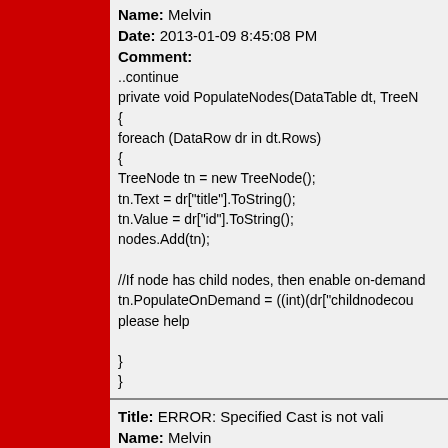Name: Melvin
Date: 2013-01-09 8:45:08 PM
Comment:
..continue
private void PopulateNodes(DataTable dt, TreeN
{
foreach (DataRow dr in dt.Rows)
{
TreeNode tn = new TreeNode();
tn.Text = dr["title"].ToString();
tn.Value = dr["id"].ToString();
nodes.Add(tn);

//If node has child nodes, then enable on-demand
tn.PopulateOnDemand = ((int)(dr["childnodecou
please help

}
}
Title: ERROR: Specified Cast is not vali
Name: Melvin
Date: 2013-01-09 8:41:46 PM
Comment:
protected void Page_Load(object sender, EventA
{
if (!Page.IsPostBack)
PopulateRootLevel();
}

private void PopulateRootLevel()